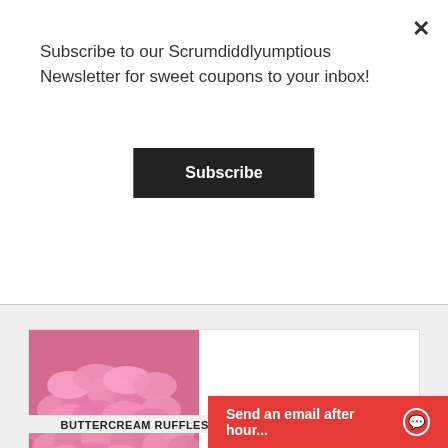×
Subscribe to our Scrumdiddlyumptious Newsletter for sweet coupons to your inbox!
Subscribe
[Figure (photo): Pink buttercream ruffles cake with layered petal-like frosting covering the entire exterior]
BUTTERCREAM RUFFLES CAKE-CHOOSE YOUR COLOR!
Send an email after hour...